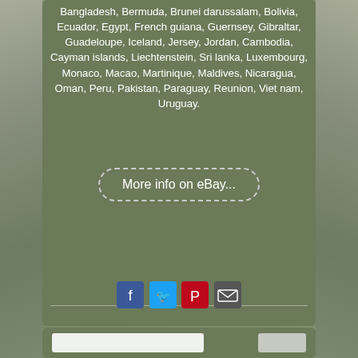Bangladesh, Bermuda, Brunei darussalam, Bolivia, Ecuador, Egypt, French guiana, Guernsey, Gibraltar, Guadeloupe, Iceland, Jersey, Jordan, Cambodia, Cayman islands, Liechtenstein, Sri lanka, Luxembourg, Monaco, Macao, Martinique, Maldives, Nicaragua, Oman, Peru, Pakistan, Paraguay, Reunion, Viet nam, Uruguay.
[Figure (other): Button with dashed border reading 'More info on eBay...']
[Figure (other): Social share icons: Facebook (blue), Twitter (light blue), Pinterest (red), Email (dark gray)]